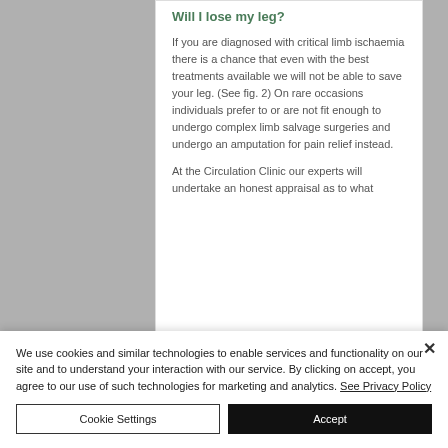Will I lose my leg?
If you are diagnosed with critical limb ischaemia there is a chance that even with the best treatments available we will not be able to save your leg. (See fig. 2) On rare occasions individuals prefer to or are not fit enough to undergo complex limb salvage surgeries and undergo an amputation for pain relief instead.
At the Circulation Clinic our experts will undertake an honest appraisal as to what
We use cookies and similar technologies to enable services and functionality on our site and to understand your interaction with our service. By clicking on accept, you agree to our use of such technologies for marketing and analytics. See Privacy Policy
Cookie Settings
Accept